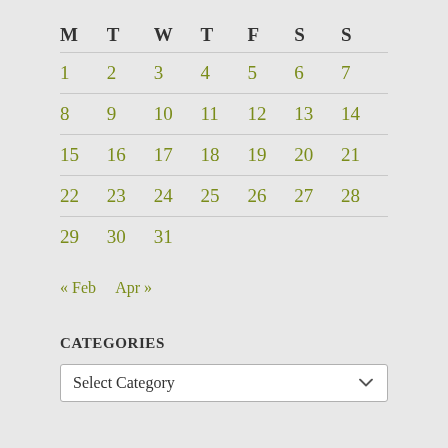| M | T | W | T | F | S | S |
| --- | --- | --- | --- | --- | --- | --- |
| 1 | 2 | 3 | 4 | 5 | 6 | 7 |
| 8 | 9 | 10 | 11 | 12 | 13 | 14 |
| 15 | 16 | 17 | 18 | 19 | 20 | 21 |
| 22 | 23 | 24 | 25 | 26 | 27 | 28 |
| 29 | 30 | 31 |  |  |  |  |
« Feb  Apr »
CATEGORIES
Select Category